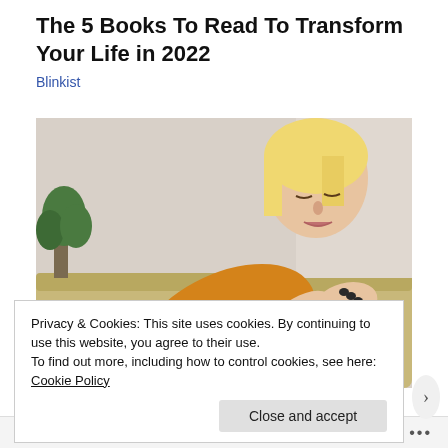The 5 Books To Read To Transform Your Life in 2022
Blinkist
[Figure (photo): A blonde woman in a yellow knit sweater looking down at her wrist, seated on a couch with green plants visible in the background.]
Privacy & Cookies: This site uses cookies. By continuing to use this website, you agree to their use.
To find out more, including how to control cookies, see here: Cookie Policy
Follow ...